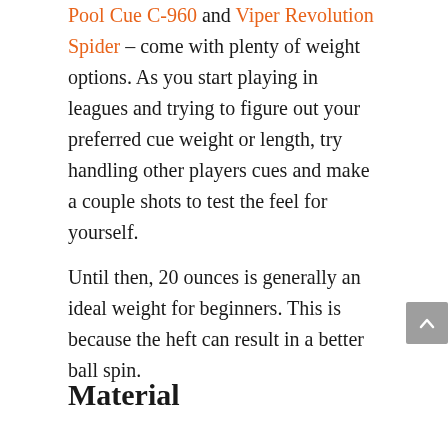Pool Cue C-960 and Viper Revolution Spider – come with plenty of weight options. As you start playing in leagues and trying to figure out your preferred cue weight or length, try handling other players cues and make a couple shots to test the feel for yourself.
Until then, 20 ounces is generally an ideal weight for beginners. This is because the heft can result in a better ball spin.
Material